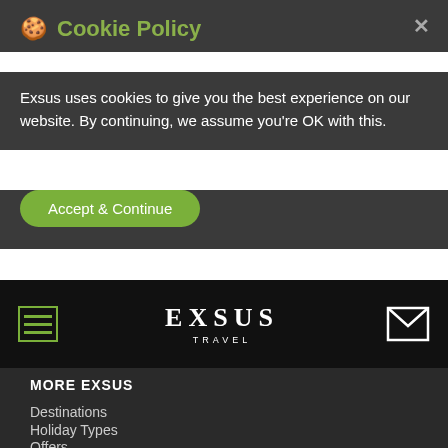🍪 Cookie Policy
Exsus uses cookies to give you the best experience on our website. By continuing, we assume you're OK with this.
Accept & Continue
[Figure (screenshot): Exsus Travel navigation bar with hamburger menu icon on left, EXSUS TRAVEL logo in center, and envelope/mail icon on right, on black background]
MORE EXSUS
Destinations
Holiday Types
Offers
Blog
When to go
EXSUS SITES